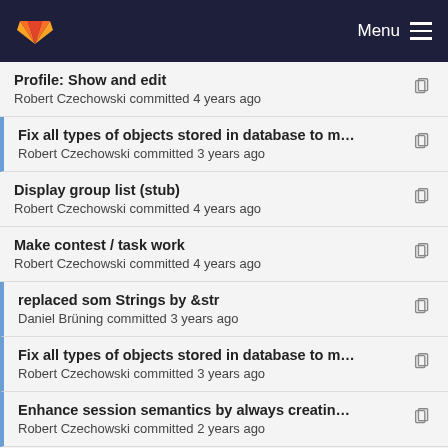GitLab — Menu
Profile: Show and edit
Robert Czechowski committed 4 years ago
Fix all types of objects stored in database to make…
Robert Czechowski committed 3 years ago
Display group list (stub)
Robert Czechowski committed 4 years ago
Make contest / task work
Robert Czechowski committed 4 years ago
replaced som Strings by &str
Daniel Brüning committed 3 years ago
Fix all types of objects stored in database to make…
Robert Czechowski committed 3 years ago
Enhance session semantics by always creating liv…
Robert Czechowski committed 2 years ago
Make contest / task work